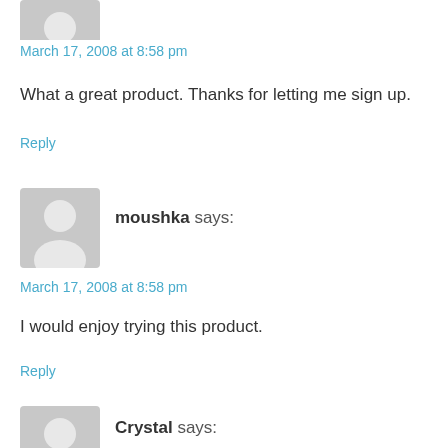[Figure (illustration): Grey avatar silhouette icon (partial, top of page)]
March 17, 2008 at 8:58 pm
What a great product. Thanks for letting me sign up.
Reply
[Figure (illustration): Grey avatar silhouette icon]
moushka says:
March 17, 2008 at 8:58 pm
I would enjoy trying this product.
Reply
[Figure (illustration): Grey avatar silhouette icon (partial, bottom of page)]
Crystal says: